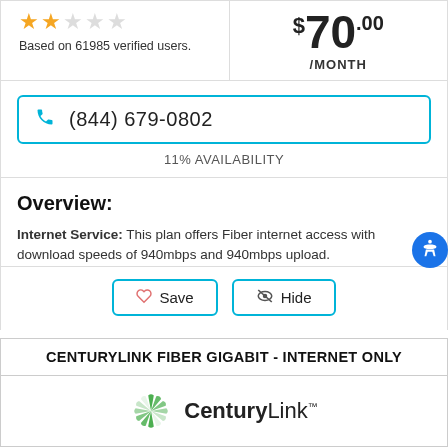[Figure (other): Star rating: 2 out of 5 stars (filled gold, rest empty)]
Based on 61985 verified users.
$70.00 /MONTH
(844) 679-0802
11% AVAILABILITY
Overview:
Internet Service: This plan offers Fiber internet access with download speeds of 940mbps and 940mbps upload.
Save
Hide
CENTURYLINK FIBER GIGABIT - INTERNET ONLY
[Figure (logo): CenturyLink logo with sunburst/pinwheel icon in green]